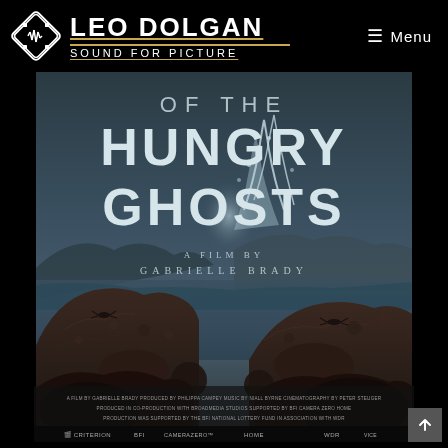LEO DOLGAN SOUND FOR PICTURE — Menu
[Figure (photo): Movie poster for 'Of the Hungry Ghosts', a film by Gabrielle Brady. Shows text 'OF THE HUNGRY GHOSTS / A FILM BY GABRIELLE BRADY' overlaid on a dark dramatic landscape of rocky cliffs with crabs visible, crashing ocean waves in the background, misty mountains, moody teal-grey atmosphere. Film credits and production logos appear at the bottom of the poster.]